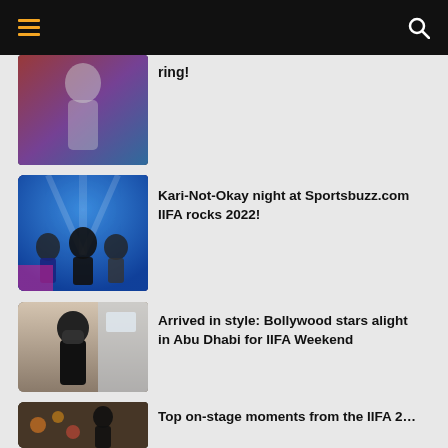[Figure (screenshot): Top navigation bar with dark background, hamburger menu (orange lines) on left and search icon on right]
[Figure (photo): Performer on stage in a glittery outfit with colorful lighting — partially cropped card]
ring!
[Figure (photo): Group of performers on stage with blue stage lighting at IIFA Rocks 2022]
Kari-Not-Okay night at Sportsbuzz.com IIFA rocks 2022!
[Figure (photo): Bollywood star arriving in Abu Dhabi wearing a mask, in a dark jacket]
Arrived in style: Bollywood stars alight in Abu Dhabi for IIFA Weekend
[Figure (photo): On-stage moment from IIFA 2022 Weekend with performers]
Top on-stage moments from the IIFA 2022 Weekend that caught everyone's eyes